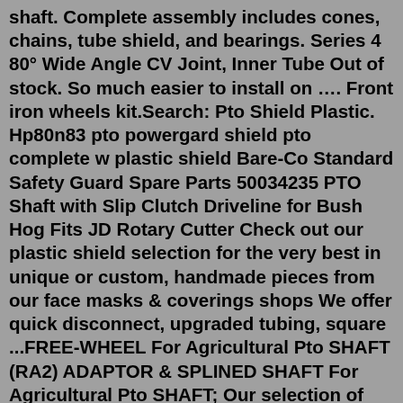shaft. Complete assembly includes cones, chains, tube shield, and bearings. Series 4 80° Wide Angle CV Joint, Inner Tube Out of stock. So much easier to install on …. Front iron wheels kit.Search: Pto Shield Plastic. Hp80n83 pto powergard shield pto complete w plastic shield Bare-Co Standard Safety Guard Spare Parts 50034235 PTO Shaft with Slip Clutch Driveline for Bush Hog Fits JD Rotary Cutter Check out our plastic shield selection for the very best in unique or custom, handmade pieces from our face masks & coverings shops We offer quick disconnect, upgraded tubing, square ...FREE-WHEEL For Agricultural Pto SHAFT (RA2) ADAPTOR & SPLINED SHAFT For Agricultural Pto SHAFT; Our selection of power take off parts covers dozens of sizes, models and styles so you can find what you need for your farm tractor or lawn equipment We have PTO drive shafts as well as essential shield parts for your safety Hp80n83 pto powergard ...(Without snapping some plastic) In picture 1 on the left, the